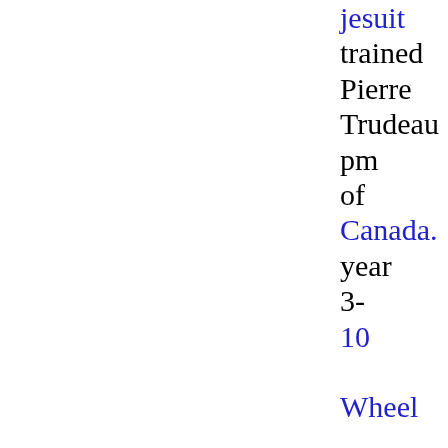jesuit trained Pierre Trudeau pm of Canada. year 3- 10 Wheel of Fortune. 4/30 Beatrix crowned